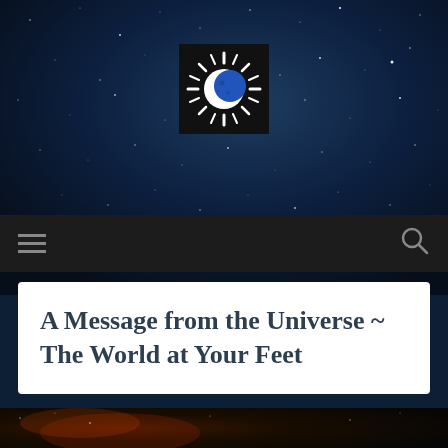[Figure (logo): Sun and moon combined logo icon — white starburst sun with a blue crescent moon overlay, on a black square background]
[Figure (screenshot): Navigation bar with dark background, hamburger menu icon on the left and search (magnifying glass) icon on the right]
A Message from the Universe ~ The World at Your Feet
[Figure (photo): Photo of tarot cards and crystals/stones on a cosmic starfield background. An orange-red tarot card with white plant/tree motifs is visible along with green and brown polished stones.]